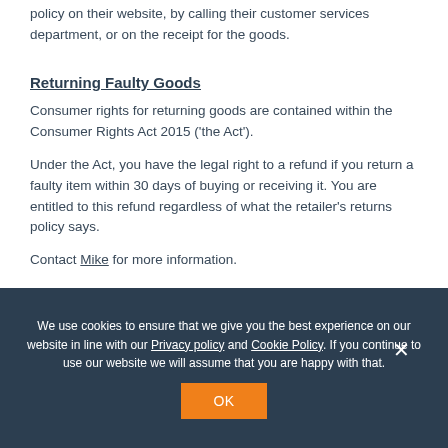policy on their website, by calling their customer services department, or on the receipt for the goods.
Returning Faulty Goods
Consumer rights for returning goods are contained within the Consumer Rights Act 2015 ('the Act').
Under the Act, you have the legal right to a refund if you return a faulty item within 30 days of buying or receiving it. You are entitled to this refund regardless of what the retailer's returns policy says.
Contact Mike for more information.
We use cookies to ensure that we give you the best experience on our website in line with our Privacy policy and Cookie Policy. If you continue to use our website we will assume that you are happy with that.